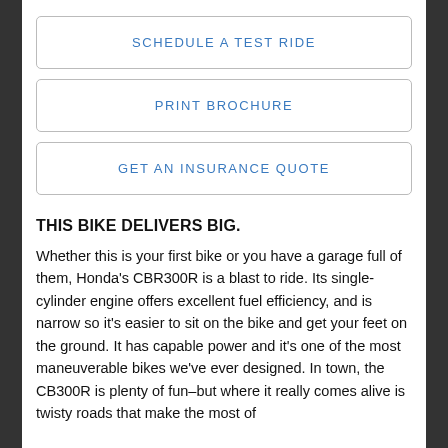SCHEDULE A TEST RIDE
PRINT BROCHURE
GET AN INSURANCE QUOTE
THIS BIKE DELIVERS BIG.
Whether this is your first bike or you have a garage full of them, Honda's CBR300R is a blast to ride. Its single-cylinder engine offers excellent fuel efficiency, and is narrow so it's easier to sit on the bike and get your feet on the ground. It has capable power and it's one of the most maneuverable bikes we've ever designed. In town, the CB300R is plenty of fun–but where it really comes alive is twisty roads that make the most of